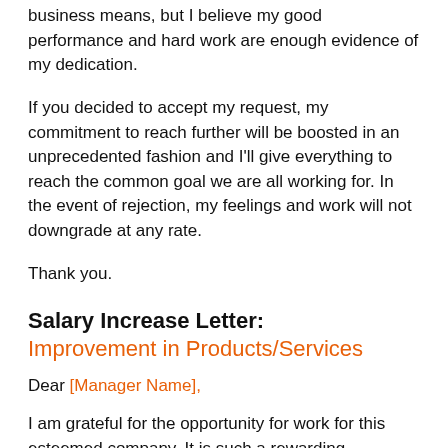business means, but I believe my good performance and hard work are enough evidence of my dedication.
If you decided to accept my request, my commitment to reach further will be boosted in an unprecedented fashion and I'll give everything to reach the common goal we are all working for. In the event of rejection, my feelings and work will not downgrade at any rate.
Thank you.
Salary Increase Letter: Improvement in Products/Services
Dear [Manager Name],
I am grateful for the opportunity for work for this esteemed company. It is such a rewarding experience being part of a professional group of people working hard to reach a